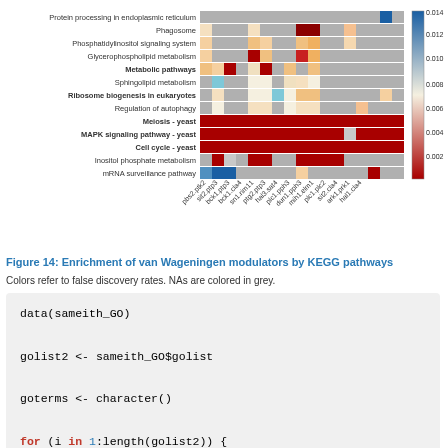[Figure (other): Heatmap showing Enrichment of van Wageningen modulators by KEGG pathways. Rows are KEGG pathways, columns are modulator genes. Colors represent false discovery rates from ~0 (red) to 0.014 (blue), with grey for NAs.]
Figure 14: Enrichment of van Wageningen modulators by KEGG pathways
Colors refer to false discovery rates. NAs are colored in grey.
data(sameith_GO)

golist2 <- sameith_GO$golist

goterms <- character()

for (i in 1:length(golist2)) {